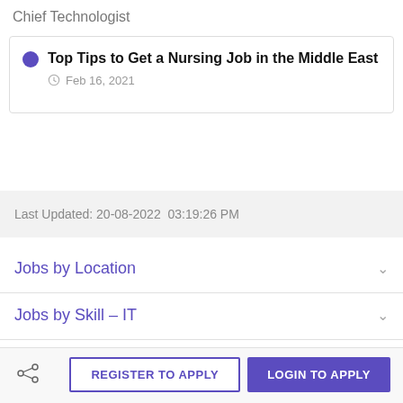Chief Technologist
Top Tips to Get a Nursing Job in the Middle East
Feb 16, 2021
Last Updated: 20-08-2022  03:19:26 PM
Jobs by Location
Jobs by Skill – IT
Jobs by Skill – Non IT